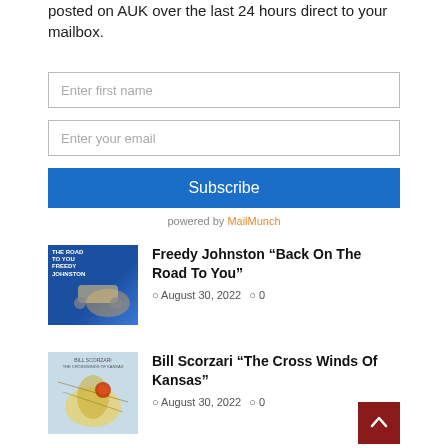posted on AUK over the last 24 hours direct to your mailbox.
Enter first name
Enter your email
Subscribe
powered by MailMunch
[Figure (photo): Album cover for Freedy Johnston Back On The Road To You, blue background with vehicle]
Freedy Johnston “Back On The Road To You”
◉ August 30, 2022  ○ 0
[Figure (photo): Album cover for Bill Scorzari The Cross Winds Of Kansas, light blue background with bird]
Bill Scorzari “The Cross Winds Of Kansas”
◉ August 30, 2022  ○ 0